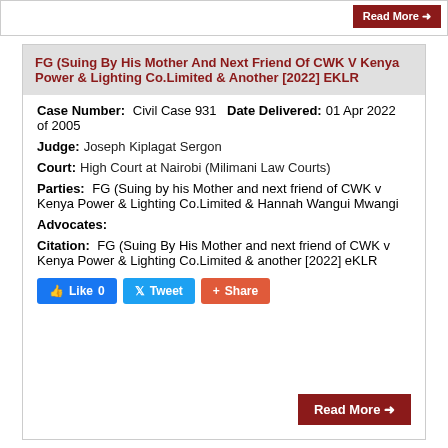FG (Suing By His Mother And Next Friend Of CWK V Kenya Power & Lighting Co.Limited & Another [2022] EKLR
Case Number: Civil Case 931 of 2005
Date Delivered: 01 Apr 2022
Judge: Joseph Kiplagat Sergon
Court: High Court at Nairobi (Milimani Law Courts)
Parties: FG (Suing by his Mother and next friend of CWK v Kenya Power & Lighting Co.Limited & Hannah Wangui Mwangi
Advocates:
Citation: FG (Suing By His Mother and next friend of CWK v Kenya Power & Lighting Co.Limited & another [2022] eKLR